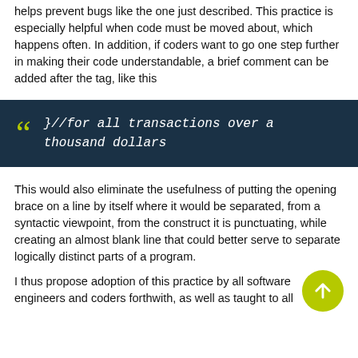helps prevent bugs like the one just described. This practice is especially helpful when code must be moved about, which happens often. In addition, if coders want to go one step further in making their code understandable, a brief comment can be added after the tag, like this
[Figure (other): Dark blue callout box with large yellow quotation marks and italic monospace code: }//for all transactions over a thousand dollars]
This would also eliminate the usefulness of putting the opening brace on a line by itself where it would be separated, from a syntactic viewpoint, from the construct it is punctuating, while creating an almost blank line that could better serve to separate logically distinct parts of a program.
I thus propose adoption of this practice by all software engineers and coders forthwith, as well as taught to all